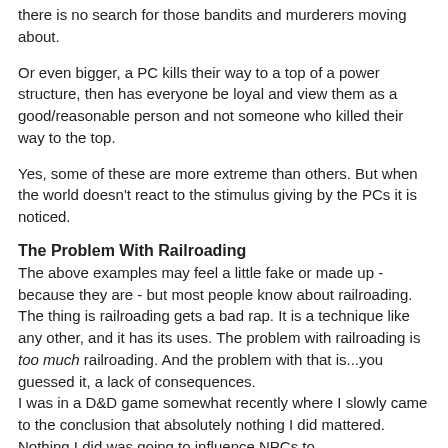there is no search for those bandits and murderers moving about.
Or even bigger, a PC kills their way to a top of a power structure, then has everyone be loyal and view them as a good/reasonable person and not someone who killed their way to the top.
Yes, some of these are more extreme than others. But when the world doesn't react to the stimulus giving by the PCs it is noticed.
The Problem With Railroading
The above examples may feel a little fake or made up - because they are - but most people know about railroading. The thing is railroading gets a bad rap. It is a technique like any other, and it has its uses. The problem with railroading is too much railroading. And the problem with that is...you guessed it, a lack of consequences.
I was in a D&D game somewhat recently where I slowly came to the conclusion that absolutely nothing I did mattered. Nothing I did was going to influence NPCs to